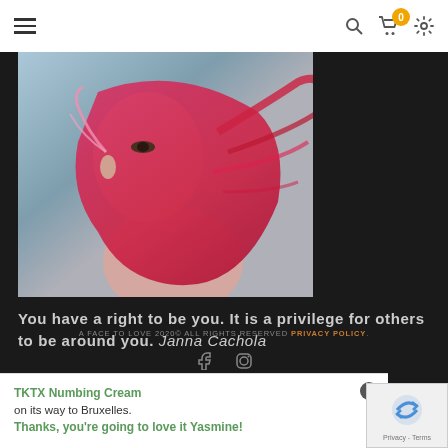Navigation bar with hamburger menu, search icon, cart (0 items), and settings icon
[Figure (photo): Woman with red/pink hair viewed from the side/back, artistic portrait photo with blurred background]
You have a right to be you. It is a privilege for others to be around you. Janna Cachola
A FACE TO LOVE 2020© ALL RIGHTS RESERVED PRIVACY POLICY.
TKTX Numbing Cream
on its way to Bruxelles.
Thanks, you're going to love it Yasmine!